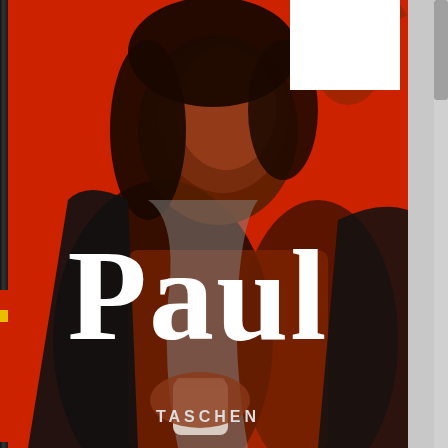[Figure (photo): Book cover of 'Paul' published by TASCHEN. Red/orange background with a black-and-white tinted photo of Paul McCartney holding a white cup, wearing a dark jacket and t-shirt. Large white bold serif text 'Paul' overlaid across the middle of the cover. The publisher name TASCHEN appears at the bottom center in white spaced lettering. The image shows the physical book with a dark spine on the left edge. A browser navigation hamburger menu icon appears in the upper right corner on a white background.]